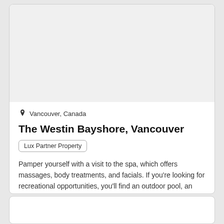[Figure (photo): Hotel image placeholder area (light gray background)]
Vancouver, Canada
The Westin Bayshore, Vancouver
Lux Partner Property
Pamper yourself with a visit to the spa, which offers massages, body treatments, and facials. If you're looking for recreational opportunities, you'll find an outdoor pool, an indoor pool, and a spa tub. Additional...
View details
Select your dates